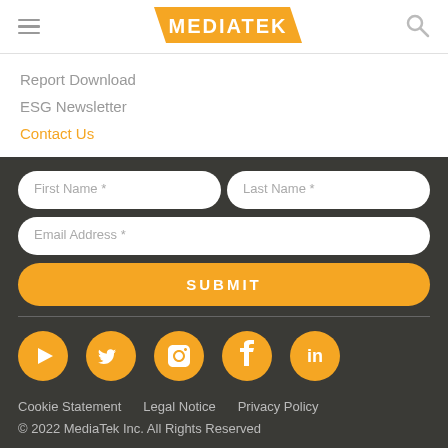[Figure (logo): MediaTek logo — orange parallelogram shape with white MEDIATEK text]
Report Download
ESG Newsletter
Contact Us
First Name *
Last Name *
Email Address *
SUBMIT
[Figure (illustration): Social media icons: YouTube, Twitter, Facebook, LinkedIn — all orange circles with white icons]
Cookie Statement   Legal Notice   Privacy Policy
© 2022 MediaTek Inc. All Rights Reserved